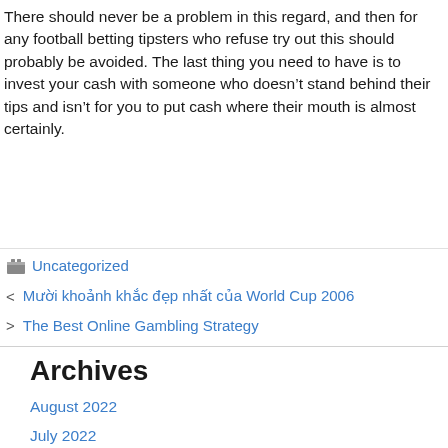There should never be a problem in this regard, and then for any football betting tipsters who refuse try out this should probably be avoided. The last thing you need to have is to invest your cash with someone who doesn't stand behind their tips and isn't for you to put cash where their mouth is almost certainly.
Uncategorized
Mười khoảnh khắc đẹp nhất của World Cup 2006
The Best Online Gambling Strategy
Archives
August 2022
July 2022